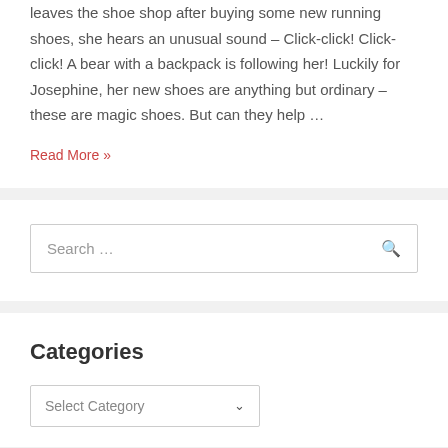leaves the shoe shop after buying some new running shoes, she hears an unusual sound – Click-click! Click-click! A bear with a backpack is following her! Luckily for Josephine, her new shoes are anything but ordinary – these are magic shoes. But can they help ...
Read More »
Search ...
Categories
Select Category